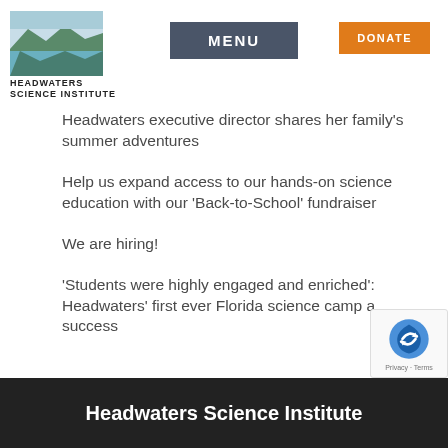[Figure (logo): Headwaters Science Institute logo with landscape photo above text]
MENU    DONATE
Headwaters executive director shares her family's summer adventures
Help us expand access to our hands-on science education with our ‘Back-to-School’ fundraiser
We are hiring!
‘Students were highly engaged and enriched’: Headwaters’ first ever Florida science camp a success
Headwaters Science Institute